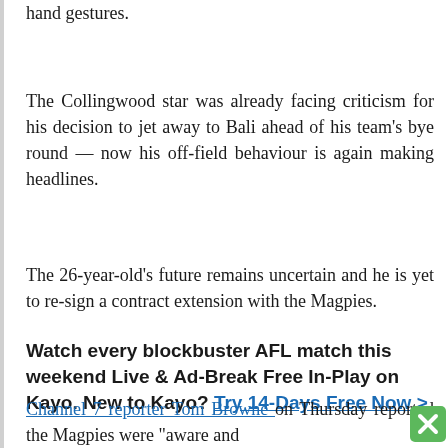hand gestures.
The Collingwood star was already facing criticism for his decision to jet away to Bali ahead of his team's bye round — now his off-field behaviour is again making headlines.
The 26-year-old's future remains uncertain and he is yet to re-sign a contract extension with the Magpies.
Watch every blockbuster AFL match this weekend Live & Ad-Break Free In-Play on Kayo. New to Kayo? Try 14-Days Free Now >
Channel 7 reporter Tom Browne on Thursday reported the Magpies were "aware and..."